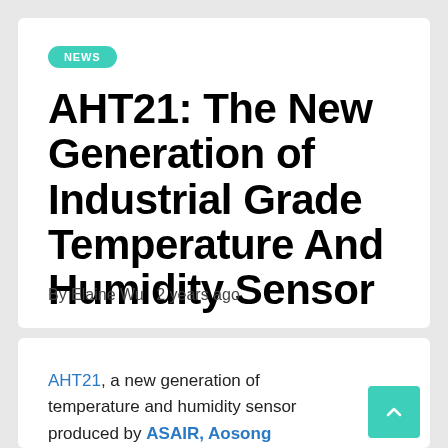NEWS
AHT21: The New Generation of Industrial Grade Temperature And Humidity Sensor
By Elaine Wu   2 years ago
AHT21, a new generation of temperature and humidity sensor produced by ASAIR, Aosong Electronics, is embedded in a dual-row flat